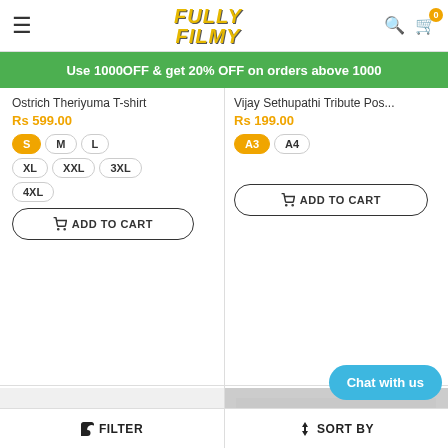Fully Filmy - navigation header with hamburger menu, logo, search and cart icons
Use 1000OFF & get 20% OFF on orders above 1000
Ostrich Theriyuma T-shirt
Rs 599.00
S M L XL XXL 3XL 4XL
ADD TO CART
Vijay Sethupathi Tribute Pos...
Rs 199.00
A3 A4
ADD TO CART
[Figure (photo): Navy blue t-shirt with graphic print on white/light gray background]
[Figure (photo): Vijay Sethupathi tribute framed art poster showing two figures in red and black tones]
Chat with us
FILTER  |  SORT BY